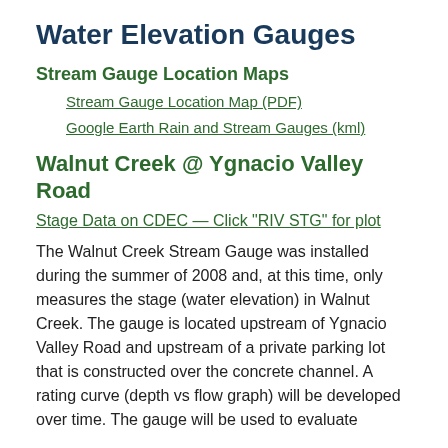Water Elevation Gauges
Stream Gauge Location Maps
Stream Gauge Location Map (PDF)
Google Earth Rain and Stream Gauges (kml)
Walnut Creek @ Ygnacio Valley Road
Stage Data on CDEC — Click "RIV STG" for plot
The Walnut Creek Stream Gauge was installed during the summer of 2008 and, at this time, only measures the stage (water elevation) in Walnut Creek. The gauge is located upstream of Ygnacio Valley Road and upstream of a private parking lot that is constructed over the concrete channel. A rating curve (depth vs flow graph) will be developed over time. The gauge will be used to evaluate